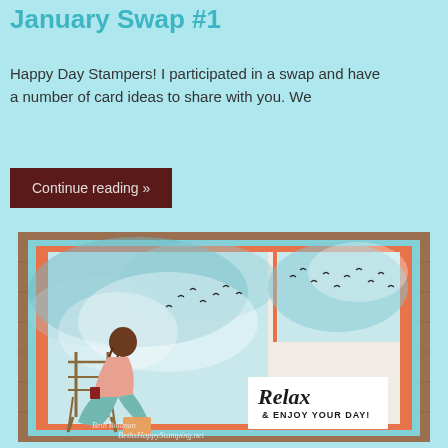January Swap #1
Happy Day Stampers! I participated in a swap and have a number of card ideas to share with you. We
Continue reading »
[Figure (photo): A handmade stamping card featuring a woman sitting in a chair on a dock looking at birds in a teal/watercolor sky. The card has coral/salmon layered matting and a white panel with 'Relax & ENJOY YOUR DAY!' sentiment. Watermark reads 'Beth Bollman' and 'BethsHappyStamping.net'.]